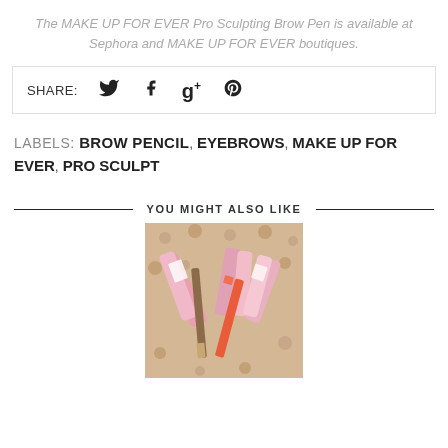The MAKE UP FOR EVER Pro Sculpting Brow Pen is available at Sephora and MAKE UP FOR EVER boutiques.
SHARE: [Twitter] [Facebook] [Google+] [Pinterest]
LABELS: BROW PENCIL, EYEBROWS, MAKE UP FOR EVER, PRO SCULPT
YOU MIGHT ALSO LIKE
[Figure (photo): Photo of makeup products including pencils and lipsticks on a polka dot background]